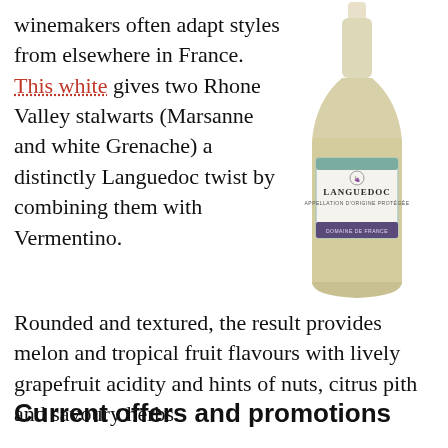winemakers often adapt styles from elsewhere in France. This white gives two Rhone Valley stalwarts (Marsanne and white Grenache) a distinctly Languedoc twist by combining them with Vermentino.
[Figure (photo): A bottle of Languedoc white wine with a teal/green label, tall slender bottle shape]
Rounded and textured, the result provides melon and tropical fruit flavours with lively grapefruit acidity and hints of nuts, citrus pith and savoury herbs.
Current offers and promotions